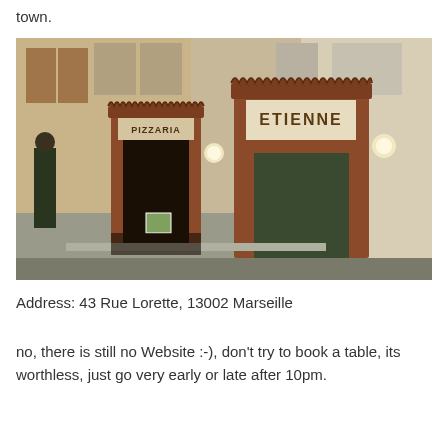town.
[Figure (photo): Street-level photo of Pizzaria Etienne restaurant storefront in Marseille, showing two brick-framed doorways with signs reading PIZZARIA and ETIENNE, on a narrow street with stone buildings.]
Address: 43 Rue Lorette, 13002 Marseille
no, there is still no Website :-), don't try to book a table, its worthless, just go very early or late after 10pm.